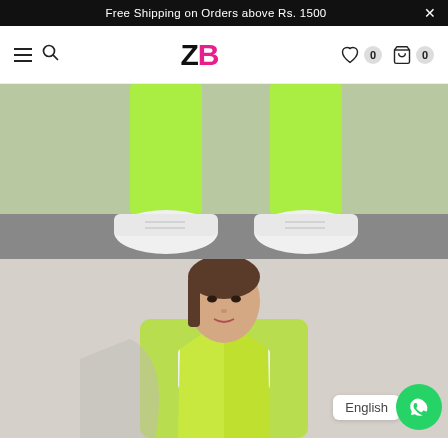Free Shipping on Orders above Rs. 1500
ZB — navigation bar with hamburger menu, search, wishlist (0), cart (0)
[Figure (photo): Close-up of a model's legs wearing neon green/yellow seamless leggings with white chunky sneakers, on a gym floor background.]
[Figure (photo): Model posing in neon green/yellow zip-up ribbed jacket over a white sports bra, with a WhatsApp chat widget and 'English' label visible in lower right corner.]